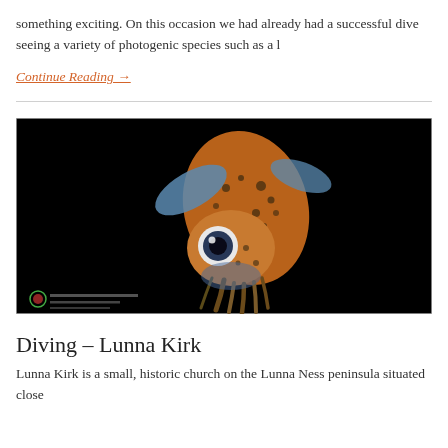something exciting. On this occasion we had already had a successful dive seeing a variety of photogenic species such as a l
Continue Reading →
[Figure (photo): Underwater photograph of a small squid or cuttlefish against a black background. The creature has a spotted/mottled brown and blue coloring with prominent eyes and tentacles visible. A small logo and watermark appear in the bottom left corner.]
Diving – Lunna Kirk
Lunna Kirk is a small, historic church on the Lunna Ness peninsula situated close